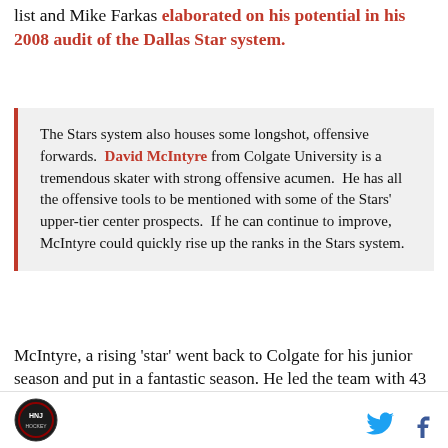list and Mike Farkas elaborated on his potential in his 2008 audit of the Dallas Star system.
The Stars system also houses some longshot, offensive forwards. David McIntyre from Colgate University is a tremendous skater with strong offensive acumen. He has all the offensive tools to be mentioned with some of the Stars' upper-tier center prospects. If he can continue to improve, McIntyre could quickly rise up the ranks in the Stars system.
McIntyre, a rising 'star' went back to Colgate for his junior season and put in a fantastic season. He led the team with 43 points (21g-22a), power play points with
[Figure (logo): Hockey News Journal circular logo]
[Figure (logo): Twitter bird icon]
[Figure (logo): Facebook f icon]